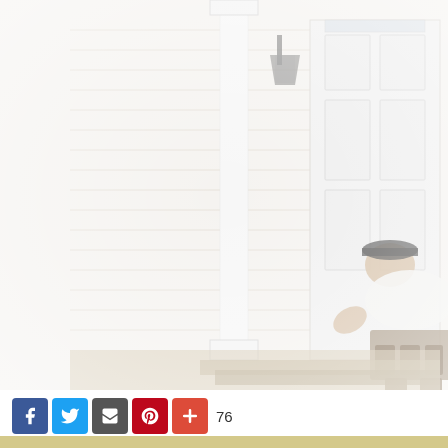[Figure (photo): A worker in a white t-shirt, dark shorts, cap, and tool belt bends over to work on the base of a white porch column at the entrance of a house. The house has white vinyl siding, a white front door, a lantern-style light fixture, and some shrubbery visible to the left. The porch has brick/stone steps.]
[Figure (infographic): Social sharing buttons row: Facebook (blue), Twitter (blue), Email/share (dark grey), Pinterest (red), Plus/add (red-orange), followed by a share count of 76.]